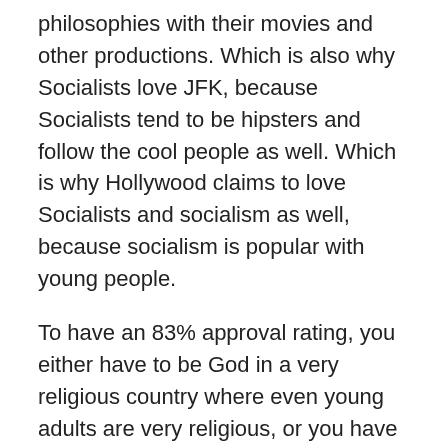philosophies with their movies and other productions. Which is also why Socialists love JFK, because Socialists tend to be hipsters and follow the cool people as well. Which is why Hollywood claims to love Socialists and socialism as well, because socialism is popular with young people.
To have an 83% approval rating, you either have to be God in a very religious country where even young adults are very religious, or you have to be leading a country that's just been under attack and you're the one who successfully led the country through that crisis and came out stronger, like President Franklin Roosevelt after Pearl Harbor in 1941, or you have to be a politician who is so popular, because you're able to connect with so many people on so many different levels. Which is why John F. Kennedy is still so popular in America.